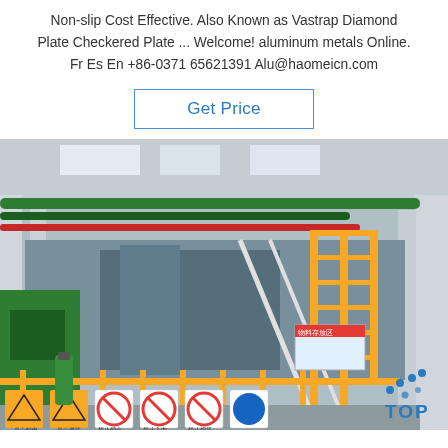Non-slip Cost Effective. Also Known as Vastrap Diamond Plate Checkered Plate ... Welcome! aluminum metals Online. Fr Es En +86-0371 65621391 Alu@haomeicn.com
Get Price
[Figure (photo): Industrial factory floor showing metal processing machinery with yellow safety railings, staircases, green piping overhead, safety warning signs at the bottom including red prohibition signs and yellow caution signs with Chinese text. A 'TOP' logo with blue dots is visible in the lower right.]